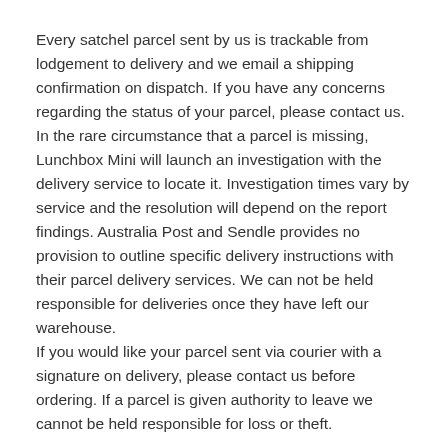Every satchel parcel sent by us is trackable from lodgement to delivery and we email a shipping confirmation on dispatch. If you have any concerns regarding the status of your parcel, please contact us. In the rare circumstance that a parcel is missing, Lunchbox Mini will launch an investigation with the delivery service to locate it. Investigation times vary by service and the resolution will depend on the report findings. Australia Post and Sendle provides no provision to outline specific delivery instructions with their parcel delivery services. We can not be held responsible for deliveries once they have left our warehouse.
If you would like your parcel sent via courier with a signature on delivery, please contact us before ordering. If a parcel is given authority to leave we cannot be held responsible for loss or theft.
Free Local Pickup